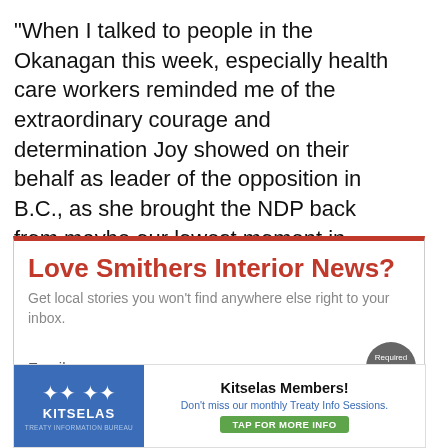“When I talked to people in the Okanagan this week, especially health care workers reminded me of the extraordinary courage and determination Joy showed on their behalf as leader of the opposition in B.C., as she brought the NDP back from maybe our lowest moment in history and really put us back on the map politically,” Dix said.
Love Smithers Interior News?
Get local stories you won’t find anywhere else right to your inbox.
Email
[Figure (infographic): Kitselas Members! Don’t miss our monthly Treaty Info Sessions. TAP FOR MORE INFO advertisement banner with blue background on the left showing Kitselas logo and name, and text on white right side.]